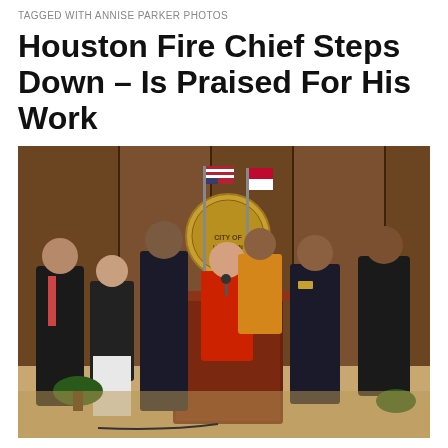TAGGED WITH ANNISE PARKER PHOTOS
Houston Fire Chief Steps Down – Is Praised For His Work
[Figure (photo): Press conference photo showing several people standing in a wood-paneled room with the City of Houston seal on the wall. A woman in red stands at a podium bearing the City of Houston seal. Flanking her are officials including a police officer in uniform, a fire chief in uniform, and several others in formal attire. American and Texas flags are visible in the background.]